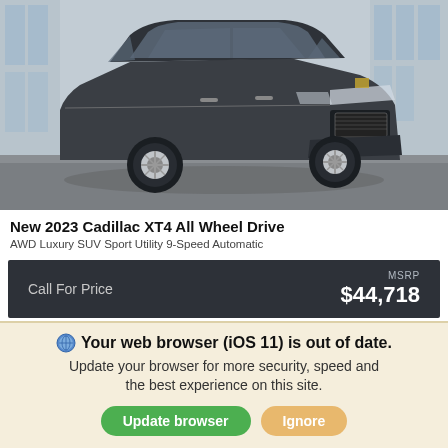[Figure (photo): Dark gray 2023 Cadillac XT4 SUV parked in front of a glass building, three-quarter front view]
New 2023 Cadillac XT4 All Wheel Drive
AWD Luxury SUV Sport Utility 9-Speed Automatic
| Call For Price | MSRP $44,718 |
| --- | --- |
Your web browser (iOS 11) is out of date. Update your browser for more security, speed and the best experience on this site.